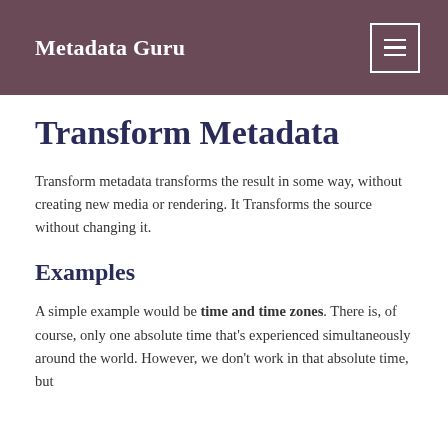Metadata Guru
Transform Metadata
Transform metadata transforms the result in some way, without creating new media or rendering. It Transforms the source without changing it.
Examples
A simple example would be time and time zones. There is, of course, only one absolute time that's experienced simultaneously around the world. However, we don't work in that absolute time, but